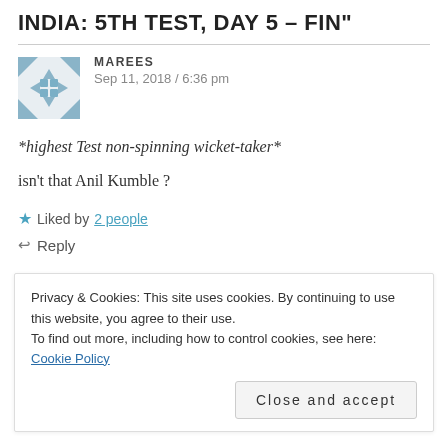INDIA: 5TH TEST, DAY 5 – FIN"
MAREES
Sep 11, 2018 / 6:36 pm
*highest Test non-spinning wicket-taker*
isn't that Anil Kumble ?
★ Liked by 2 people
↩ Reply
Privacy & Cookies: This site uses cookies. By continuing to use this website, you agree to their use.
To find out more, including how to control cookies, see here: Cookie Policy
Close and accept